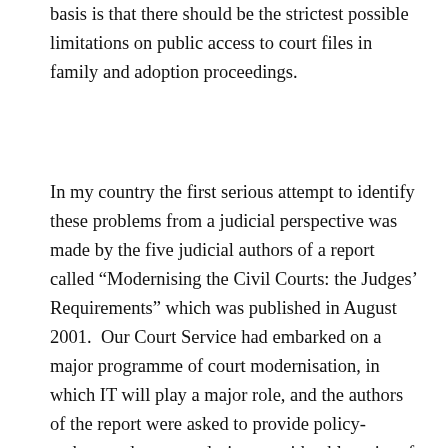basis is that there should be the strictest possible limitations on public access to court files in family and adoption proceedings.
In my country the first serious attempt to identify these problems from a judicial perspective was made by the five judicial authors of a report called “Modernising the Civil Courts: the Judges’ Requirements” which was published in August 2001.  Our Court Service had embarked on a major programme of court modernisation, in which IT will play a major role, and the authors of the report were asked to provide policy-makers and systems designers with a blueprint of what the needs of the judiciary were likely to be in a modernised court system.   In this report the five judges took the opportunity of articulating their concern that